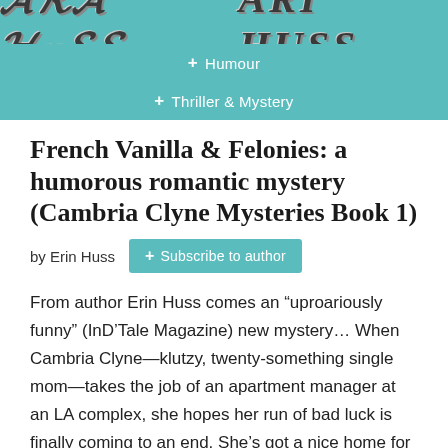[Figure (screenshot): Website header banner with teal/turquoise background showing a stylized logo text and genre navigation buttons for Humour and Thriller & Mystery]
French Vanilla & Felonies: a humorous romantic mystery (Cambria Clyne Mysteries Book 1)
by Erin Huss
+ Subscribe to author
From author Erin Huss comes an “uproariously funny” (InD’Tale Magazine) new mystery… When Cambria Clyne—klutzy, twenty-something single mom—takes the job of an apartment manager at an LA complex, she hopes her run of bad luck is finally coming to an end. She’s got a nice home for her daughter, a steady source of income, and the cute maintenance guy is …